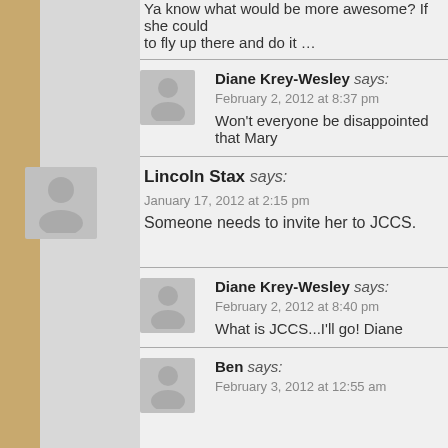Ya know what would be more awesome? If she could fly up there and do it …
Diane Krey-Wesley says:
February 2, 2012 at 8:37 pm
Won't everyone be disappointed that Mary…
Lincoln Stax says:
January 17, 2012 at 2:15 pm
Someone needs to invite her to JCCS.
Diane Krey-Wesley says:
February 2, 2012 at 8:40 pm
What is JCCS...I'll go! Diane
Ben says:
February 3, 2012 at 12:55 am